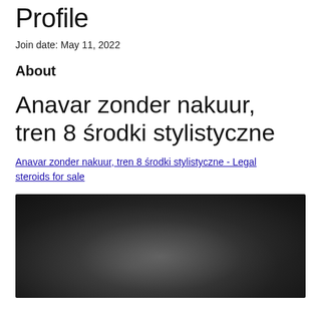Profile
Join date: May 11, 2022
About
Anavar zonder nakuur, tren 8 środki stylistyczne
Anavar zonder nakuur, tren 8 środki stylistyczne - Legal steroids for sale
[Figure (photo): Dark blurred photograph, appears to show a dimly lit scene with indistinct shapes]